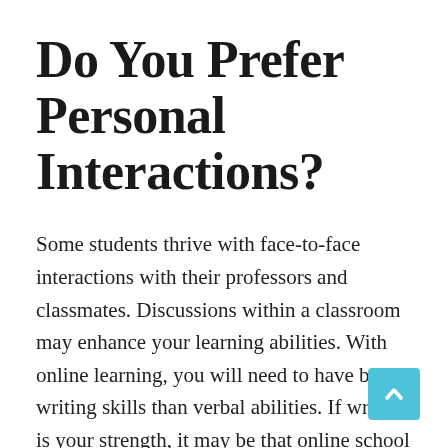Do You Prefer Personal Interactions?
Some students thrive with face-to-face interactions with their professors and classmates. Discussions within a classroom may enhance your learning abilities. With online learning, you will need to have better writing skills than verbal abilities. If writing is your strength, it may be that online school is right for you. Most interactions take place in video or regular chat rooms and through emails and discussion boards. This means